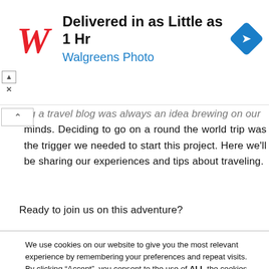[Figure (screenshot): Walgreens Photo advertisement banner: red cursive W logo on left, text 'Delivered in as Little as 1 Hr' in bold black and 'Walgreens Photo' in blue, blue diamond navigation icon on right. Close/collapse controls visible at left edge.]
ng a travel blog was always an idea brewing on our minds. Deciding to go on a round the world trip was the trigger we needed to start this project. Here we'll be sharing our experiences and tips about traveling.
Ready to join us on this adventure?
We use cookies on our website to give you the most relevant experience by remembering your preferences and repeat visits. By clicking “Accept”, you consent to the use of ALL the cookies.
Do not sell my personal information.